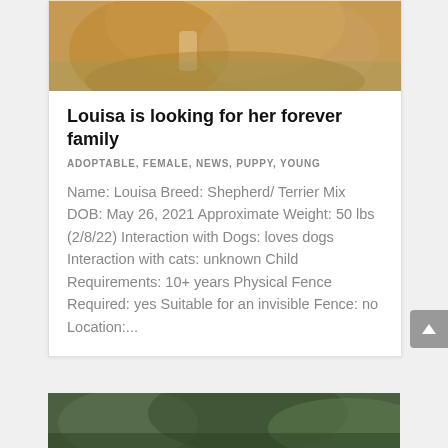[Figure (photo): Close-up photo of a tan/golden dog, showing its back and fur, with green grass background blurred]
Louisa is looking for her forever family
ADOPTABLE, FEMALE, NEWS, PUPPY, YOUNG
Name: Louisa Breed: Shepherd/ Terrier Mix DOB: May 26, 2021 Approximate Weight: 50 lbs (2/8/22) Interaction with Dogs: loves dogs Interaction with cats: unknown Child Requirements: 10+ years Physical Fence Required: yes Suitable for an invisible Fence: no Location:...
[Figure (photo): Partial view of another dog photo at the bottom of the page, showing green foliage background]